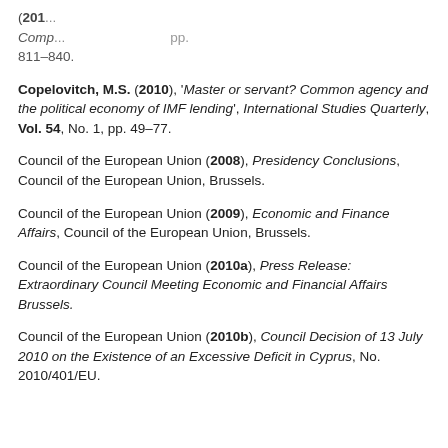(201...) Comp... pp. 811–840.
Copelovitch, M.S. (2010), 'Master or servant? Common agency and the political economy of IMF lending', International Studies Quarterly, Vol. 54, No. 1, pp. 49–77.
Council of the European Union (2008), Presidency Conclusions, Council of the European Union, Brussels.
Council of the European Union (2009), Economic and Finance Affairs, Council of the European Union, Brussels.
Council of the European Union (2010a), Press Release: Extraordinary Council Meeting Economic and Financial Affairs Brussels.
Council of the European Union (2010b), Council Decision of 13 July 2010 on the Existence of an Excessive Deficit in Cyprus, No. 2010/401/EU.